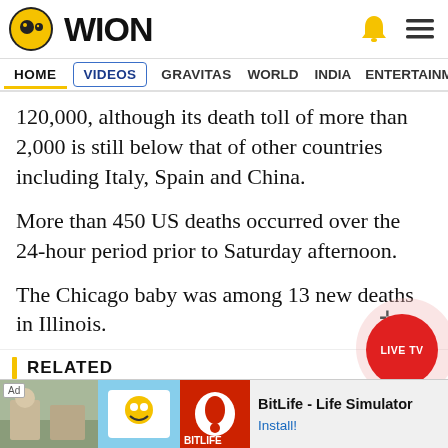WION
HOME  VIDEOS  GRAVITAS  WORLD  INDIA  ENTERTAINMENT  SPORTS
120,000, although its death toll of more than 2,000 is still below that of other countries including Italy, Spain and China.
More than 450 US deaths occurred over the 24-hour period prior to Saturday afternoon.
The Chicago baby was among 13 new deaths in Illinois.
RELATED
[Figure (screenshot): Advertisement banner for BitLife - Life Simulator app with install button]